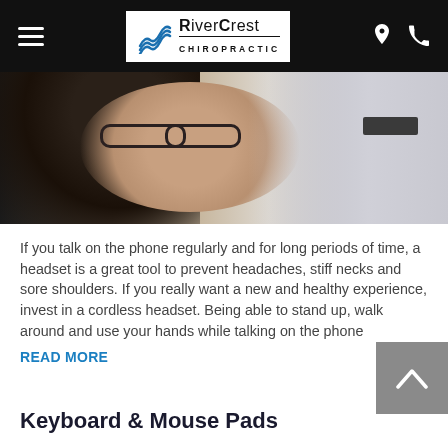RiverCrest Chiropractic
[Figure (photo): A smiling woman with glasses and dark hair, appearing to be at a computer workstation or office setting, partially cropped at the top.]
If you talk on the phone regularly and for long periods of time, a headset is a great tool to prevent headaches, stiff necks and sore shoulders. If you really want a new and healthy experience, invest in a cordless headset. Being able to stand up, walk around and use your hands while talking on the phone
READ MORE
Keyboard & Mouse Pads